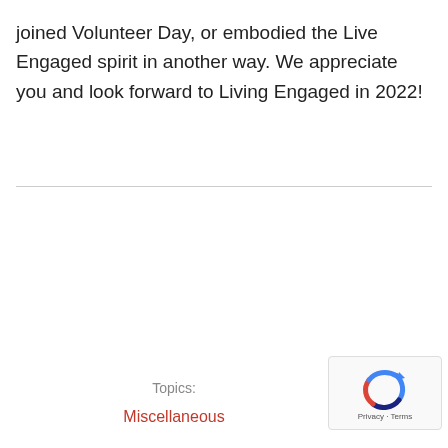joined Volunteer Day, or embodied the Live Engaged spirit in another way. We appreciate you and look forward to Living Engaged in 2022!
Topics:
Miscellaneous
[Figure (other): reCAPTCHA widget with circular arrow logo and Privacy - Terms text]